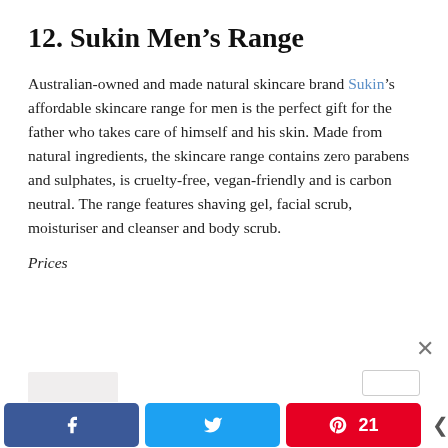12. Sukin Men's Range
Australian-owned and made natural skincare brand Sukin's affordable skincare range for men is the perfect gift for the father who takes care of himself and his skin. Made from natural ingredients, the skincare range contains zero parabens and sulphates, is cruelty-free, vegan-friendly and is carbon neutral. The range features shaving gel, facial scrub, moisturiser and cleanser and body scrub.
Prices
[Figure (photo): Light grey rectangular image placeholder in the lower left area of the page]
[Figure (other): Small scroll indicator box in lower right]